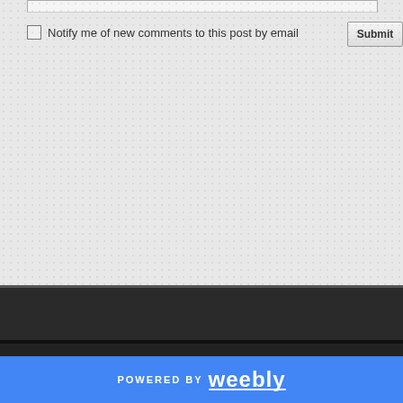[Figure (screenshot): Web form bottom section showing a checkbox labeled 'Notify me of new comments to this post by email' and a partially visible 'Submit' button on the right, over a light gray textured background]
POWERED BY weebly